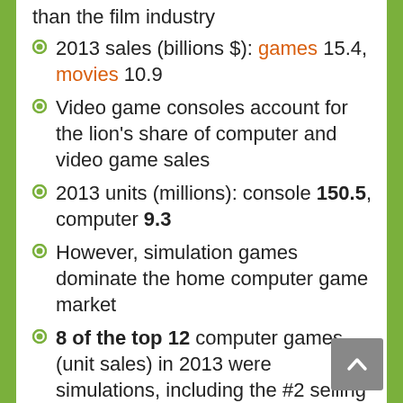than the film industry
2013 sales (billions $): games 15.4, movies 10.9
Video game consoles account for the lion's share of computer and video game sales
2013 units (millions): console 150.5, computer 9.3
However, simulation games dominate the home computer game market
8 of the top 12 computer games (unit sales) in 2013 were simulations, including the #2 selling SimCity 2013
Cities: Skyline, hailed as the successor to the popular SimCity, was released on March 10, 2015. It sold over 500,000 units in the first week.